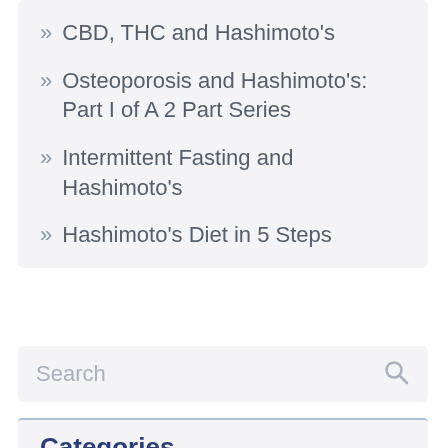» CBD, THC and Hashimoto’s
» Osteoporosis and Hashimoto’s: Part I of A 2 Part Series
» Intermittent Fasting and Hashimoto’s
» Hashimoto’s Diet in 5 Steps
Search
Categories